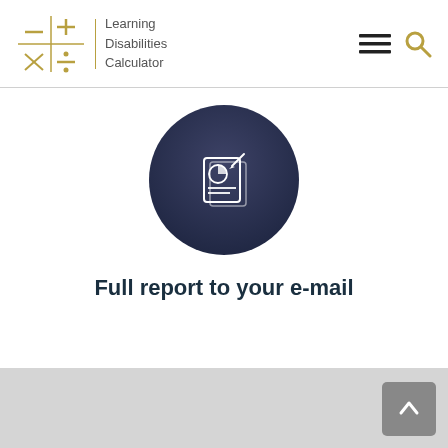[Figure (logo): Learning Disabilities Calculator logo with math symbols grid icon and text]
[Figure (illustration): Dark circular icon with a report/chart document icon in white]
Full report to your e-mail
[Figure (illustration): Gray footer bar with a gray back-to-top arrow button in the bottom right]